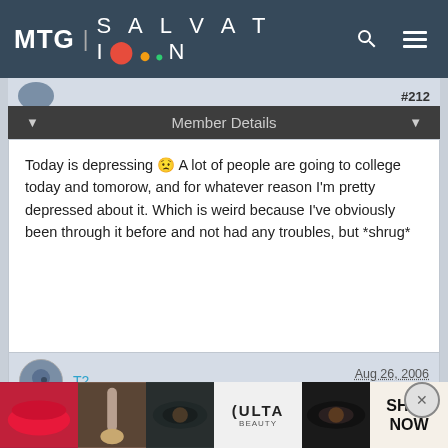[Figure (screenshot): MTG Salvation website header with logo and navigation icons]
#212
Member Details
Today is depressing 😟 A lot of people are going to college today and tomorow, and for whatever reason I'm pretty depressed about it. Which is weird because I've obviously been through it before and not had any troubles, but *shrug*
T2   Aug 26, 2006   #213
Member Details
[Figure (screenshot): ULTA Beauty advertisement banner with makeup imagery and SHOP NOW text]